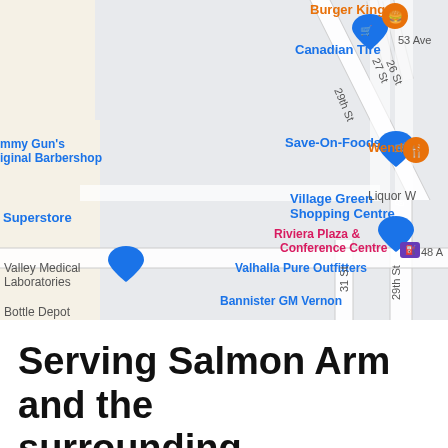[Figure (map): Google Maps screenshot showing Vernon, BC area with street grid including 29th St, 31 St, 26 St, 27 St, 53 Ave, 48 Ave. Map markers and labels include: Canadian Tire, Save-On-Foods, Village Green Shopping Centre, Superstore, Tommy Gun's Original Barbershop, Valley Medical Laboratories, Bottle Depot, Valhalla Pure Outfitters, Bannister GM Vernon, Riviera Plaza & Conference Centre, Burger King, Wendy's, Liquor W(orld)]
Serving Salmon Arm and the surrounding...